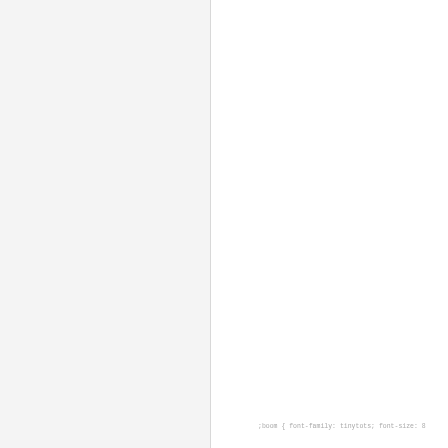;boom { font-family: tinytots; font-size: 8